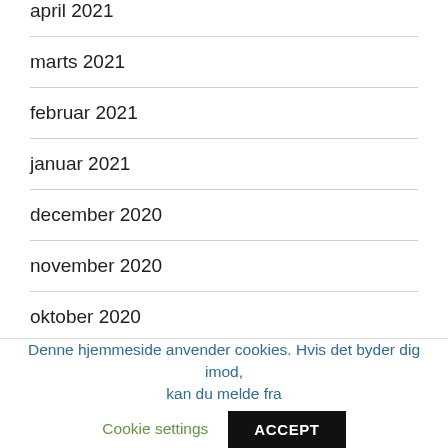april 2021
marts 2021
februar 2021
januar 2021
december 2020
november 2020
oktober 2020
september 2020
august 2020
Denne hjemmeside anvender cookies. Hvis det byder dig imod, kan du melde fra   Cookie settings   ACCEPT